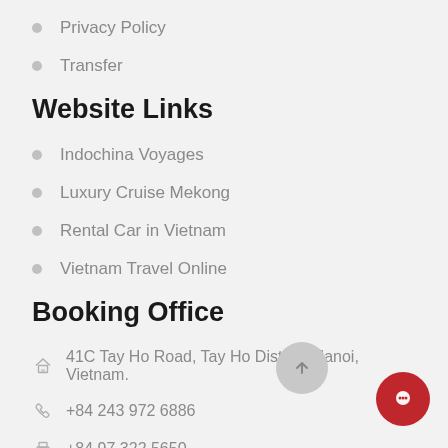Privacy Policy
Transfer
Website Links
Indochina Voyages
Luxury Cruise Mekong
Rental Car in Vietnam
Vietnam Travel Online
Booking Office
41C Tay Ho Road, Tay Ho District, Hanoi, Vietnam.
+84 243 972 6886
+84 97 322 5650
resa@halongjunkcruise.com